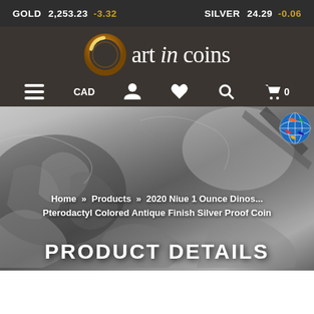GOLD 2,253.23 -3.32 SILVER 24.29 -0.06
[Figure (logo): Art in Coins logo with gold circular ring and stylized text]
≡ CAD [user icon] [heart icon] [search icon] [cart icon] 0
[Figure (photo): Close-up of silver dinosaur coin with detailed relief of a Pterodactyl, antique finish, black and white tones]
Home » Products » 2020 Niue 1 Ounce Dinos... Pterodactyl Colored Antique Finish Silver Proof Coin
PRODUCT DETAILS